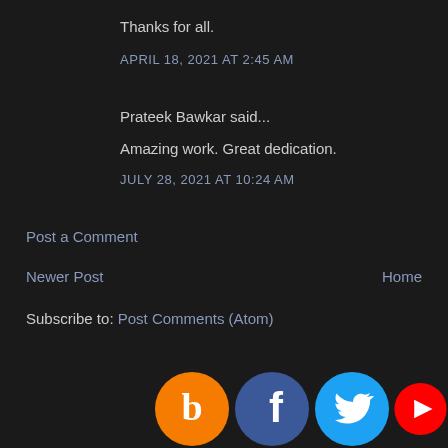Thanks for all.
APRIL 18, 2021 AT 2:45 AM
Prateek Bawkar said...
Amazing work. Great dedication.
JULY 28, 2021 AT 10:24 AM
Post a Comment
Newer Post
Home
Subscribe to: Post Comments (Atom)
[Figure (logo): Social media icons: Blogger (orange), Facebook (blue), Twitter (cyan), YouTube (red, partially visible)]